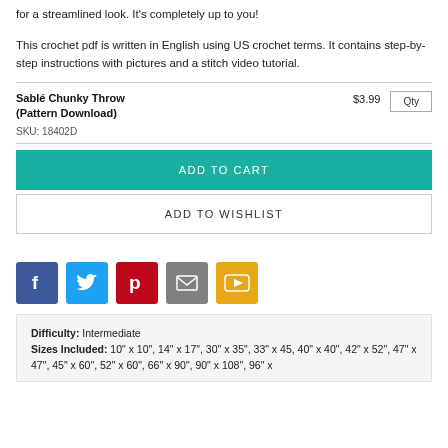for a streamlined look. It's completely up to you!
This crochet pdf is written in English using US crochet terms. It contains step-by-step instructions with pictures and a stitch video tutorial.
Sablé Chunky Throw (Pattern Download)
SKU: 18402D
$3.99
ADD TO CART
ADD TO WISHLIST
[Figure (infographic): Social sharing icons: Facebook (blue), Twitter (light blue), Pinterest (red), Email (gray), YouTube/video (yellow)]
Difficulty: Intermediate
Sizes Included: 10" x 10", 14" x 17", 30" x 35", 33" x 45, 40" x 40", 42" x 52", 47" x 47", 45" x 60", 52" x 60", 66" x 90", 90" x 108", 96" x ...